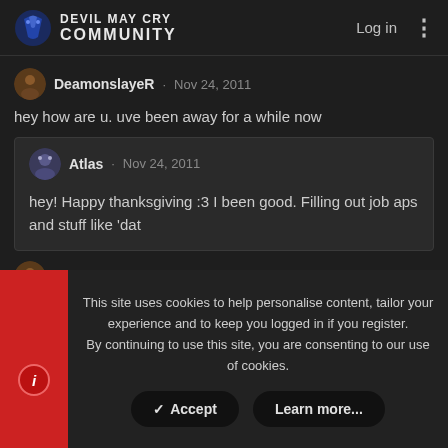DEVIL MAY CRY COMMUNITY — Log in
DeamonslayeR · Nov 24, 2011
hey how are u. uve been away for a while now
Atlas · Nov 24, 2011
hey! Happy thanksgiving :3 I been good. Filling out job aps and stuff like 'dat
DeamonslaveR · Nov 25, 2011
This site uses cookies to help personalise content, tailor your experience and to keep you logged in if you register.
By continuing to use this site, you are consenting to our use of cookies.